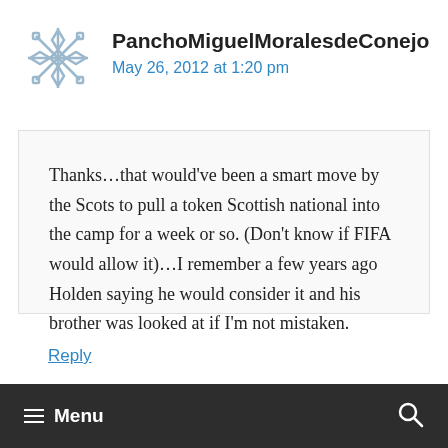PanchoMiguelMoralesdeConejo
May 26, 2012 at 1:20 pm
Thanks…that would've been a smart move by the Scots to pull a token Scottish national into the camp for a week or so. (Don't know if FIFA would allow it)…I remember a few years ago Holden saying he would consider it and his brother was looked at if I'm not mistaken.
Reply
Menu